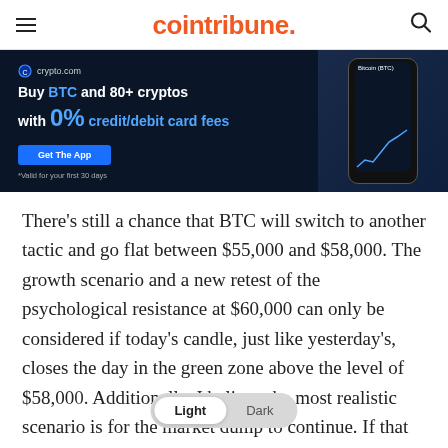cointribune.
[Figure (photo): crypto.com advertisement banner: 'Buy BTC and 80+ cryptos with 0% credit/debit card fees' with Get The App button and smartphone showing a crypto chart. *Valid for your first 30 days]
There’s still a chance that BTC will switch to another tactic and go flat between $55,000 and $58,000. The growth scenario and a new retest of the psychological resistance at $60,000 can only be considered if today’s candle, just like yesterday’s, closes the day in the green zone above the level of $58,000. Additionally, I believe the most realistic scenario is for the market dump to continue. If that